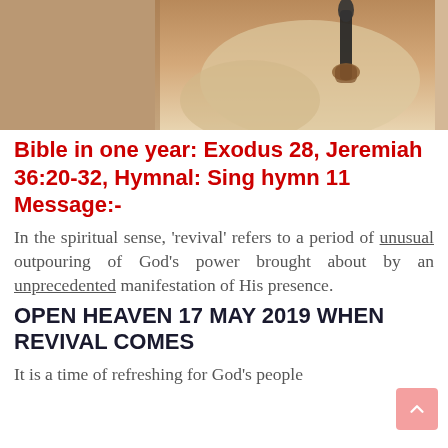[Figure (photo): Partial photo showing a person holding a microphone, cropped to show lower body/hands area with beige/tan tones]
Bible in one year: Exodus 28, Jeremiah 36:20-32, Hymnal: Sing hymn 11 Message:-
In the spiritual sense, 'revival' refers to a period of unusual outpouring of God's power brought about by an unprecedented manifestation of His presence.
OPEN HEAVEN 17 MAY 2019 WHEN REVIVAL COMES
It is a time of refreshing for God's people